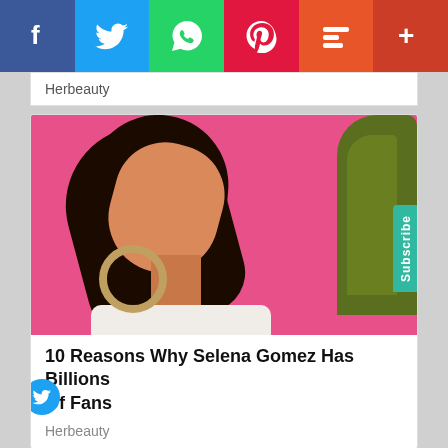[Figure (screenshot): Social media share bar with Facebook (blue), Twitter (light blue), WhatsApp (green), Pinterest (red), Mix (orange-red), and More (+) buttons]
Herbeauty
[Figure (photo): Photo of a young woman (Selena Gomez) with dark hair, large hoop earrings, eyes closed, posed against a pink background with green plants]
10 Reasons Why Selena Gomez Has Billions Of Fans
Herbeauty